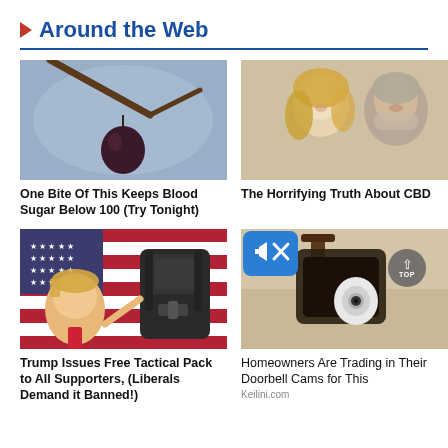Around the Web
[Figure (photo): Dark plum or cherry hanging from a bare branch against a blurred grey-blue background]
[Figure (photo): Blonde woman and older grey-haired man smiling together, portrait photo]
One Bite Of This Keeps Blood Sugar Below 100 (Try Tonight)
The Horrifying Truth About CBD
[Figure (photo): Donald Trump in front of an American flag with a black tactical backpack overlay]
[Figure (photo): Security camera on a wall bracket outside a home, with a muted/speaker-off icon overlay in blue]
Trump Issues Free Tactical Pack to All Supporters, (Liberals Demand it Banned!)
Homeowners Are Trading in Their Doorbell Cams for This
Keilini.com